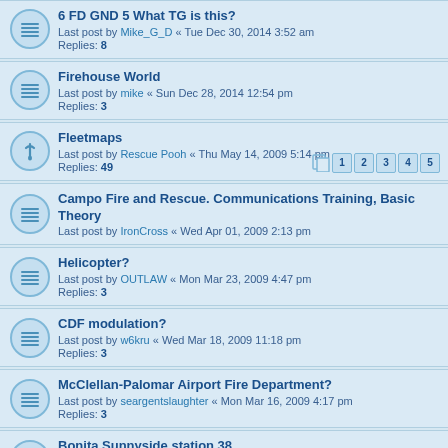6 FD GND 5 What TG is this?
Last post by Mike_G_D « Tue Dec 30, 2014 3:52 am
Replies: 8
Firehouse World
Last post by mike « Sun Dec 28, 2014 12:54 pm
Replies: 3
Fleetmaps
Last post by Rescue Pooh « Thu May 14, 2009 5:14 pm
Replies: 49
Pages: 1 2 3 4 5
Campo Fire and Rescue. Communications Training, Basic Theory
Last post by IronCross « Wed Apr 01, 2009 2:13 pm
Helicopter?
Last post by OUTLAW « Mon Mar 23, 2009 4:47 pm
Replies: 3
CDF modulation?
Last post by w6kru « Wed Mar 18, 2009 11:18 pm
Replies: 3
McClellan-Palomar Airport Fire Department?
Last post by seargentslaughter « Mon Mar 16, 2009 4:17 pm
Replies: 3
Bonita Sunnyside station 38
Last post by RescueKujo « Sun Mar 15, 2009 10:56 pm
Replies: 2
Regional Fire Authority
Last post by RescueKujo « Sat Jan 24, 2009 7:34 pm